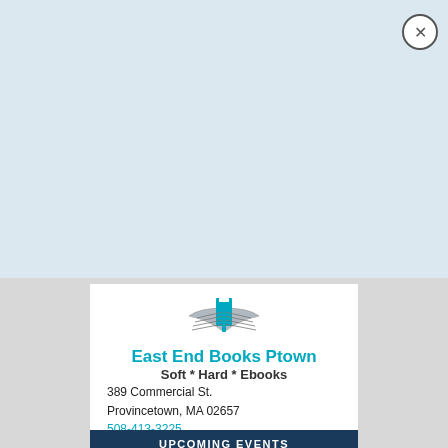Signup today for free and be the first to get notified on new updates, author events & specials.
Enter your email
Subscribe
[Figure (logo): East End Books Ptown logo with open book icon in teal]
East End Books Ptown
Soft * Hard * Ebooks
389 Commercial St.
Provincetown, MA 02657
508-413-3225
eastendbooksptown@gmail.com
UPCOMING EVENTS